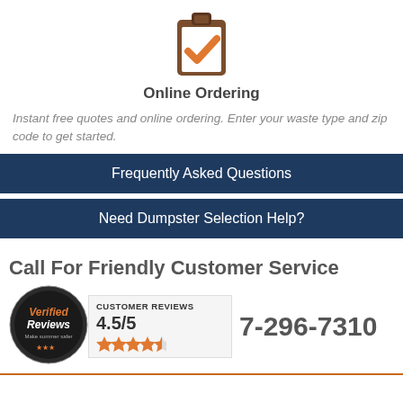[Figure (illustration): Clipboard with orange checkmark icon]
Online Ordering
Instant free quotes and online ordering. Enter your waste type and zip code to get started.
Frequently Asked Questions
Need Dumpster Selection Help?
Call For Friendly Customer Service
[Figure (logo): Verified Reviews badge with 4.5/5 customer reviews rating and 4 orange stars]
7-296-7310